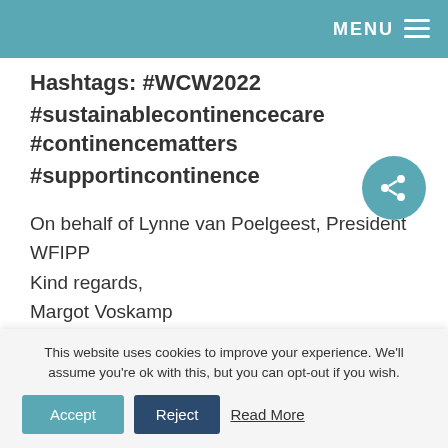MENU
Hashtags: #WCW2022 #sustainablecontinencecare #continencematters #supportincontinence
On behalf of Lynne van Poelgeest, President WFIPP
Kind regards,
Margot Voskamp
Communications Officer WFIPP
This website uses cookies to improve your experience. We'll assume you're ok with this, but you can opt-out if you wish.